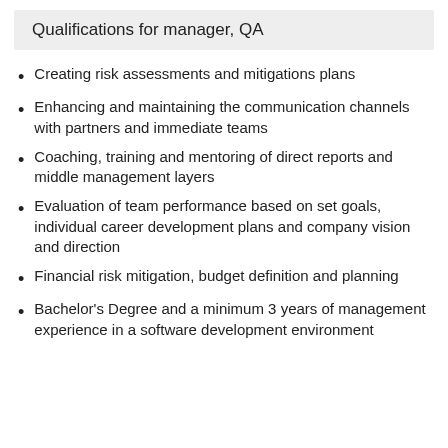Qualifications for manager, QA
Creating risk assessments and mitigations plans
Enhancing and maintaining the communication channels with partners and immediate teams
Coaching, training and mentoring of direct reports and middle management layers
Evaluation of team performance based on set goals, individual career development plans and company vision and direction
Financial risk mitigation, budget definition and planning
Bachelor's Degree and a minimum 3 years of management experience in a software development environment